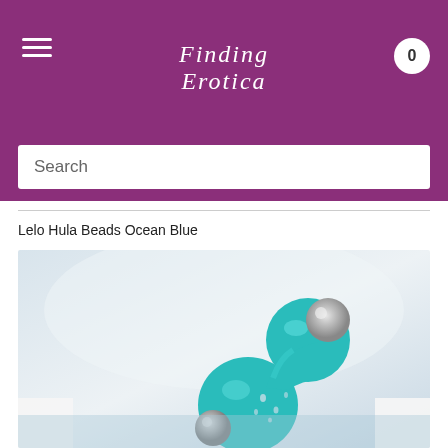Finding Erotica — website header with hamburger menu, logo, and cart badge (0)
Search
Lelo Hula Beads Ocean Blue
[Figure (photo): Product photo of Lelo Hula Beads in Ocean Blue (teal/turquoise silicone with silver metal ball), shown with water droplets on a light blue/grey background.]